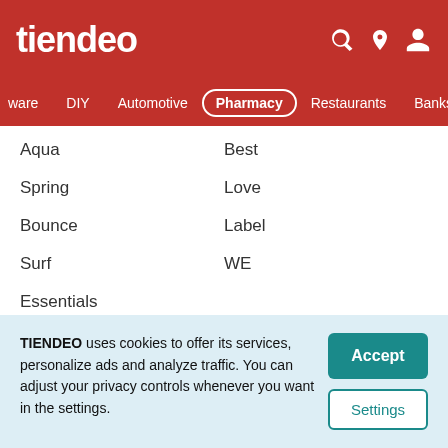tiendeo
ware  DIY  Automotive  Pharmacy  Restaurants  Banks  L
Aqua
Best
Spring
Love
Bounce
Label
Surf
WE
Essentials
Foundation in other cities
TIENDEO uses cookies to offer its services, personalize ads and analyze traffic. You can adjust your privacy controls whenever you want in the settings.